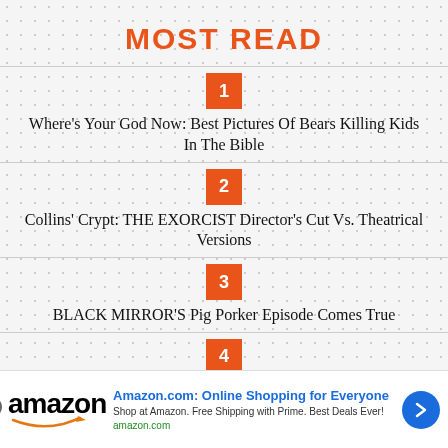MOST READ
1 — Where's Your God Now: Best Pictures Of Bears Killing Kids In The Bible
2 — Collins' Crypt: THE EXORCIST Director's Cut Vs. Theatrical Versions
3 — BLACK MIRROR'S Pig Porker Episode Comes True
4
Amazon.com: Online Shopping for Everyone — Shop at Amazon. Free Shipping with Prime. Best Deals Ever! — amazon.com